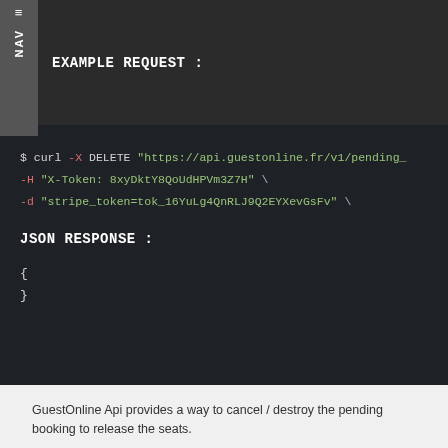EXAMPLE REQUEST :
$ curl -X DELETE "https://api.guestonline.fr/v1/pending_ \
-H "X-Token: 8xyDktY8QoUdHPVm3Z7H" \
-d "stripe_token=tok_16YuLg4QnRLJ9Q2EYXevGsFv" \
JSON RESPONSE :
{
}
GuestOnline Api provides a way to cancel / destroy the pending booking to release the seats.
Arguments
| Arguments | Status | Description |
| --- | --- | --- |